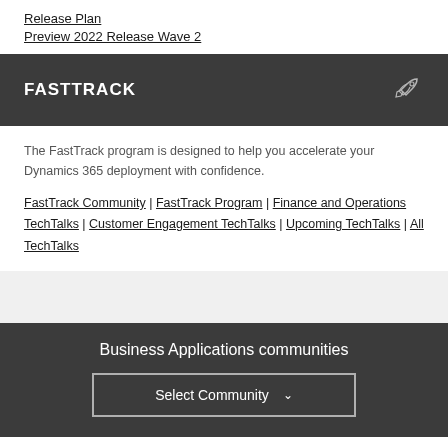Release Plan
Preview 2022 Release Wave 2
FASTTRACK
The FastTrack program is designed to help you accelerate your Dynamics 365 deployment with confidence.
FastTrack Community | FastTrack Program | Finance and Operations TechTalks | Customer Engagement TechTalks | Upcoming TechTalks | All TechTalks
Business Applications communities
Select Community